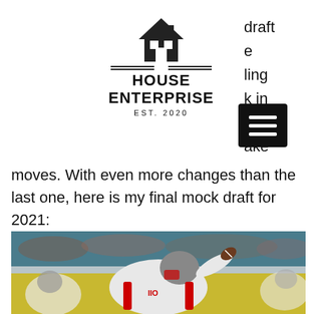[Figure (logo): House Enterprise logo with house icon, double lines, bold text HOUSE ENTERPRISE, EST. 2020]
draft
e
ling
k in
d
ake
[Figure (other): Black hamburger menu icon button]
moves. With even more changes than the last one, here is my final mock draft for 2021:
[Figure (photo): Football player in Ohio State uniform throwing a pass]